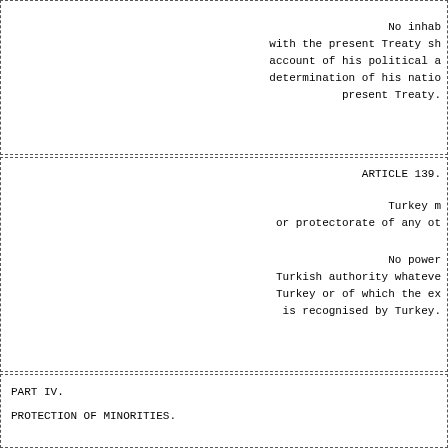No inhab with the present Treaty sh account of his political a determination of his natio present Treaty.
ARTICLE 139.
Turkey m or protectorate of any ot
No power Turkish authority whateve Turkey or of which the ex is recognised by Turkey.
PART IV.
PROTECTION OF MINORITIES.